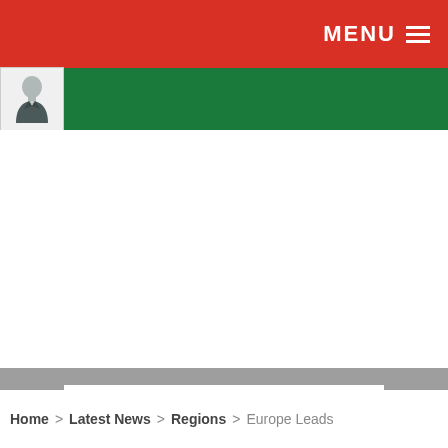MENU
[Figure (logo): Green navigation bar with avatar/person icon on left]
[Figure (other): White empty content area]
SEARCH ...
Home > Latest News > Regions > Europe Leads